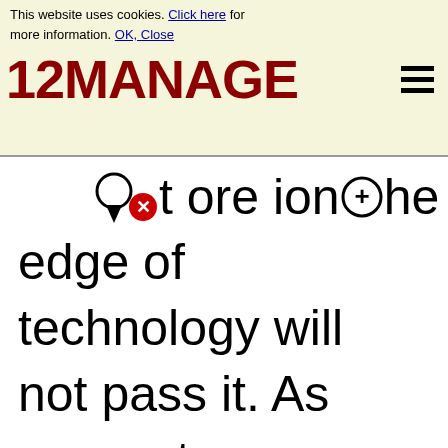This website uses cookies. Click here for more information. OK, Close
[Figure (logo): 12MANAGE logo in dark red bold text with hamburger menu icon]
that are on the edge of technology will not pass it. As my customers are mainly in